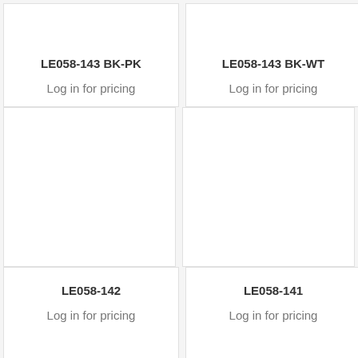LE058-143 BK-PK
Log in for pricing
LE058-143 BK-WT
Log in for pricing
[Figure (other): Empty white product image area for LE058-142]
[Figure (other): Empty white product image area for LE058-141]
LE058-142
Log in for pricing
LE058-141
Log in for pricing